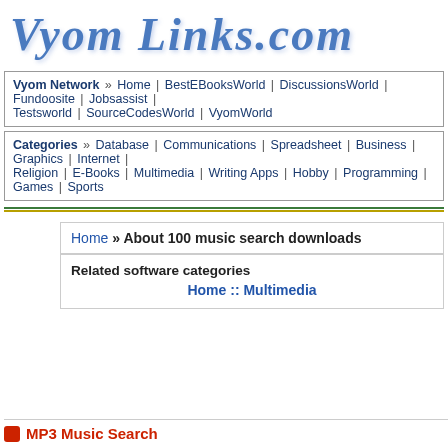VyomLinks.com
Vyom Network » Home | BestEBooksWorld | DiscussionsWorld | Fundoosite | Jobsassist | Testsworld | SourceCodesWorld | VyomWorld
Categories » Database | Communications | Spreadsheet | Business | Graphics | Internet | Religion | E-Books | Multimedia | Writing Apps | Hobby | Programming | Games | Sports
Home » About 100 music search downloads
Related software categories
Home :: Multimedia
MP3 Music Search